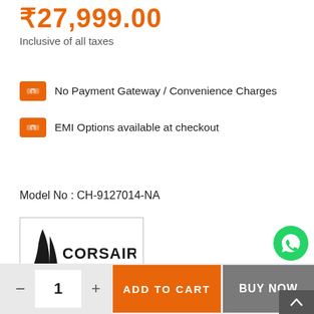₹27,999.00
Inclusive of all taxes
No Payment Gateway / Convenience Charges
EMI Options available at checkout
Model No : CH-9127014-NA
[Figure (logo): Corsair brand logo with sail icon and CORSAIR text]
Usually delivered within 3-4 Business days*
- 1 + ADD TO CART BUY NOW